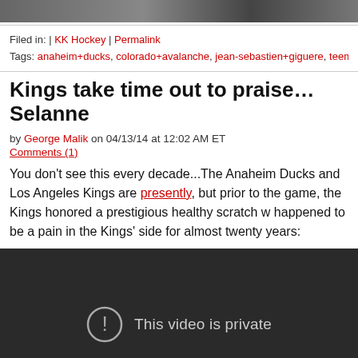[Figure (photo): Top portion of a sports photo, dark/orange tones, cropped at top of page]
Filed in: | KK Hockey | Permalink
Tags: anaheim+ducks, colorado+avalanche, jean-sebastien+giguere, teemu+selanne
Kings take time out to praise…Selanne
by George Malik on 04/13/14 at 12:02 AM ET
Comments (1)
You don't see this every decade...The Anaheim Ducks and Los Angeles Kings are presently, but prior to the game, the Kings honored a prestigious healthy scratch w happened to be a pain in the Kings' side for almost twenty years:
[Figure (screenshot): Embedded video player showing 'This video is private' message with exclamation icon on dark background]